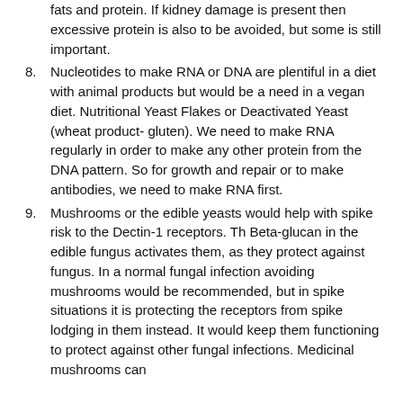fats and protein. If kidney damage is present then excessive protein is also to be avoided, but some is still important.
8. Nucleotides to make RNA or DNA are plentiful in a diet with animal products but would be a need in a vegan diet. Nutritional Yeast Flakes or Deactivated Yeast (wheat product- gluten). We need to make RNA regularly in order to make any other protein from the DNA pattern. So for growth and repair or to make antibodies, we need to make RNA first.
9. Mushrooms or the edible yeasts would help with spike risk to the Dectin-1 receptors. Th Beta-glucan in the edible fungus activates them, as they protect against fungus. In a normal fungal infection avoiding mushrooms would be recommended, but in spike situations it is protecting the receptors from spike lodging in them instead. It would keep them functioning to protect against other fungal infections. Medicinal mushrooms can